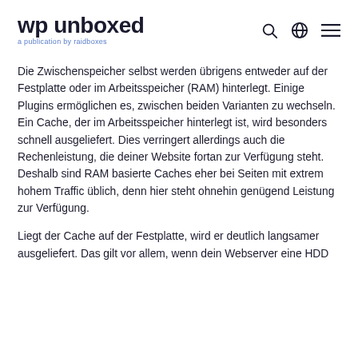wp unboxed — a publication by raidboxes
Die Zwischenspeicher selbst werden übrigens entweder auf der Festplatte oder im Arbeitsspeicher (RAM) hinterlegt. Einige Plugins ermöglichen es, zwischen beiden Varianten zu wechseln. Ein Cache, der im Arbeitsspeicher hinterlegt ist, wird besonders schnell ausgeliefert. Dies verringert allerdings auch die Rechenleistung, die deiner Website fortan zur Verfügung steht. Deshalb sind RAM basierte Caches eher bei Seiten mit extrem hohem Traffic üblich, denn hier steht ohnehin genügend Leistung zur Verfügung.
Liegt der Cache auf der Festplatte, wird er deutlich langsamer ausgeliefert. Das gilt vor allem, wenn dein Webserver eine HDD Festplatte statt einer SSD Festplatte hat.